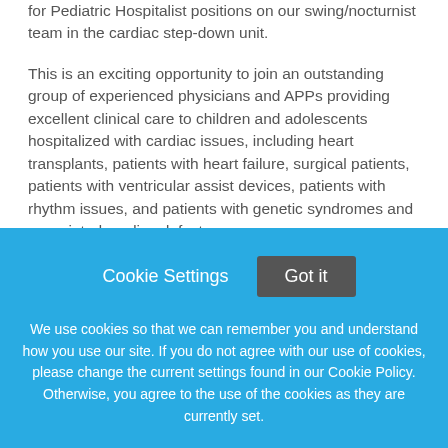for Pediatric Hospitalist positions on our swing/nocturnist team in the cardiac step-down unit.
This is an exciting opportunity to join an outstanding group of experienced physicians and APPs providing excellent clinical care to children and adolescents hospitalized with cardiac issues, including heart transplants, patients with heart failure, surgical patients, patients with ventricular assist devices, patients with rhythm issues, and patients with genetic syndromes and associated cardiac defects.
Pediatric Hospitalists on our swing/nocturnist team operate independently on the swing and night shifts with clinical teaching and additional support from the cardiology fellow and attending. Night shifts enable
Cookie Settings
Got it
We use cookies so that we can remember you and understand how you use our site. If you do not agree with our use of cookies, please change the current settings found in our Cookie Policy. Otherwise, you agree to the use of the cookies as they are currently set.